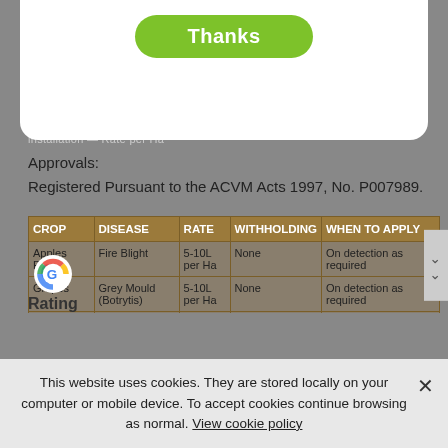[Figure (screenshot): Green 'Thanks' button on a white modal card at the top of the page]
Approvals:
Registered Pursuant to the ACVM Acts 1997, No. P007989.
| CROP | DISEASE | RATE | WITHHOLDING | WHEN TO APPLY |
| --- | --- | --- | --- | --- |
| Apples Pears | Fire Blight | 5-10L per Ha | None | On detection as required |
| Grapes | Grey Mould (Botrytis) | 5-10L per Ha | None | On detection as required |
|  |  | 0L per Ha | None | On detection as required |
This website uses cookies. They are stored locally on your computer or mobile device. To accept cookies continue browsing as normal. View cookie policy